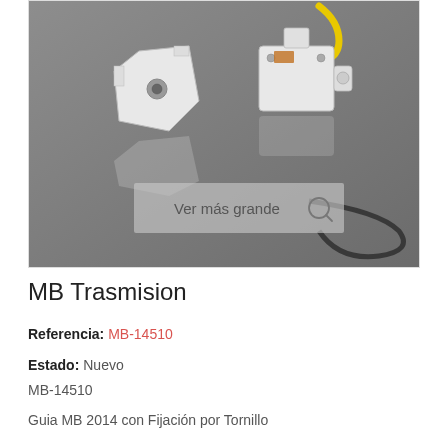[Figure (photo): Product photo showing two white plastic transmission guide components for MB 2014 with screw fixation, displayed on a reflective gray surface. One component is a triangular bracket shape and the other is a box-shaped bracket with a yellow cable attached. A semi-transparent overlay reads 'Ver más grande' with a magnifying glass icon.]
MB Trasmision
Referencia: MB-14510
Estado: Nuevo
MB-14510
Guia MB 2014 con Fijación por Tornillo